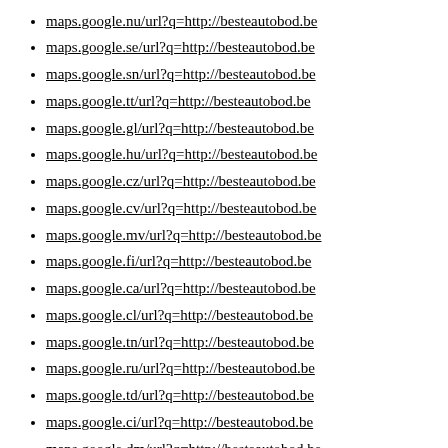maps.google.nu/url?q=http://besteautobod.be
maps.google.se/url?q=http://besteautobod.be
maps.google.sn/url?q=http://besteautobod.be
maps.google.tt/url?q=http://besteautobod.be
maps.google.gl/url?q=http://besteautobod.be
maps.google.hu/url?q=http://besteautobod.be
maps.google.cz/url?q=http://besteautobod.be
maps.google.cv/url?q=http://besteautobod.be
maps.google.mv/url?q=http://besteautobod.be
maps.google.fi/url?q=http://besteautobod.be
maps.google.ca/url?q=http://besteautobod.be
maps.google.cl/url?q=http://besteautobod.be
maps.google.tn/url?q=http://besteautobod.be
maps.google.ru/url?q=http://besteautobod.be
maps.google.td/url?q=http://besteautobod.be
maps.google.ci/url?q=http://besteautobod.be
maps.google.dm/url?q=http://besteautobod.be
maps.google.sh/url?q=http://besteautobod.be
maps.google.cm/url?q=http://besteautobod.be